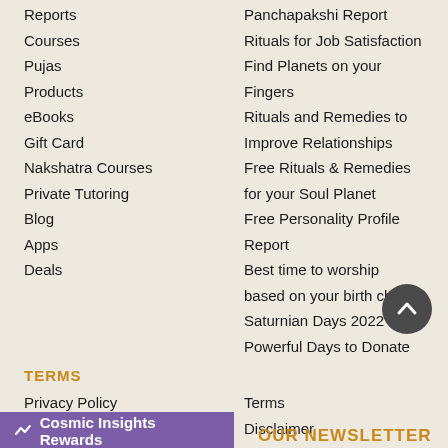Reports
Panchapakshi Report
Courses
Rituals for Job Satisfaction
Pujas
Find Planets on your Fingers
Products
Rituals and Remedies to Improve Relationships
eBooks
Free Rituals & Remedies for your Soul Planet
Gift Card
Free Personality Profile Report
Nakshatra Courses
Best time to worship based on your birth chart
Private Tutoring
Saturnian Days 2022
Blog
Powerful Days to Donate
Apps
Deals
TERMS
Privacy Policy
Terms
Refund
Disclaimer
BLOG
Cosmic Insights Rewards
OUR NEWSLETTER